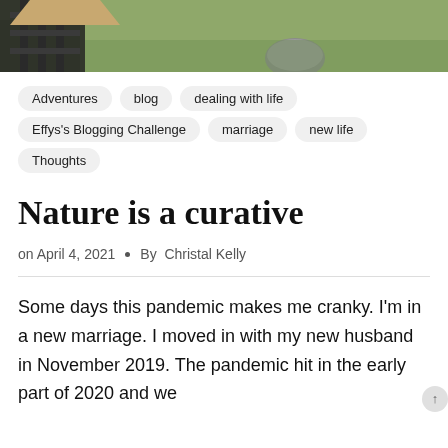[Figure (photo): Outdoor photo showing a grassy hillside with a dark metal fence/structure on the left and a large boulder in the middle ground]
Adventures
blog
dealing with life
Effys's Blogging Challenge
marriage
new life
Thoughts
Nature is a curative
on April 4, 2021  •  By  Christal Kelly
Some days this pandemic makes me cranky. I'm in a new marriage. I moved in with my new husband in November 2019. The pandemic hit in the early part of 2020 and we